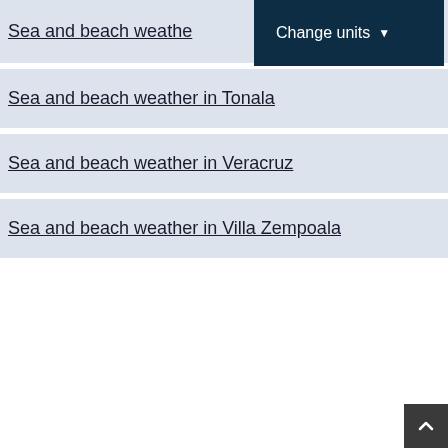Sea and beach weather
Sea and beach weather in Tonala
Sea and beach weather in Veracruz
Sea and beach weather in Villa Zempoala